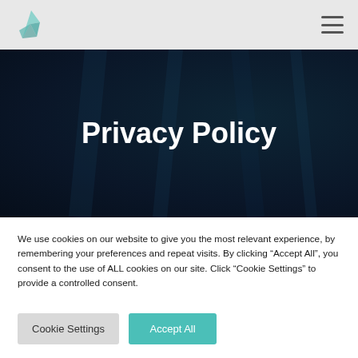Privacy Policy
We use cookies on our website to give you the most relevant experience, by remembering your preferences and repeat visits. By clicking “Accept All”, you consent to the use of ALL cookies on our site. Click “Cookie Settings” to provide a controlled consent.
Cookie Settings | Accept All